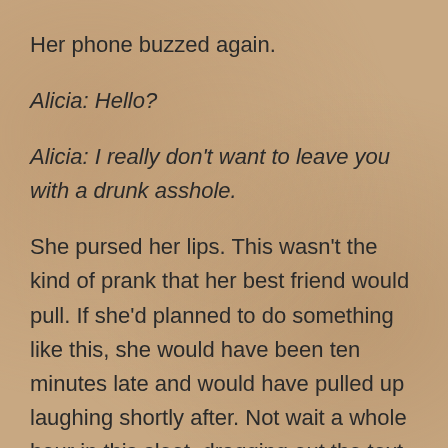Her phone buzzed again.
Alicia: Hello?
Alicia: I really don't want to leave you with a drunk asshole.
She pursed her lips. This wasn't the kind of prank that her best friend would pull. If she'd planned to do something like this, she would have been ten minutes late and would have pulled up laughing shortly after. Not wait a whole hour in this sleet, dragging out the text messages with proper